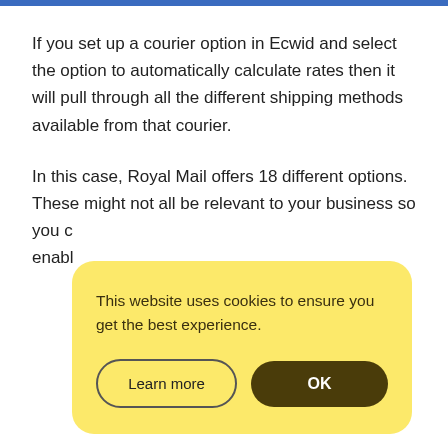If you set up a courier option in Ecwid and select the option to automatically calculate rates then it will pull through all the different shipping methods available from that courier.
In this case, Royal Mail offers 18 different options. These might not all be relevant to your business so you c... enabl...
[Figure (screenshot): Cookie consent banner with yellow rounded rectangle background. Text reads 'This website uses cookies to ensure you get the best experience.' Two buttons: 'Learn more' (outlined) and 'OK' (dark filled).]